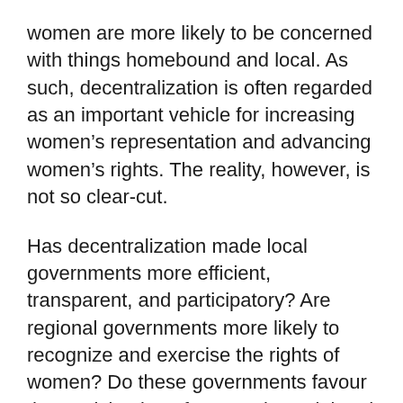women are more likely to be concerned with things homebound and local. As such, decentralization is often regarded as an important vehicle for increasing women's representation and advancing women's rights. The reality, however, is not so clear-cut.
Has decentralization made local governments more efficient, transparent, and participatory? Are regional governments more likely to recognize and exercise the rights of women? Do these governments favour the participation of women in social and political matters?
This book examines the impact of decentralization on women by looking at concrete examples from Latin America. It presents research results based on the main findings of projects in Bolivia, Ecuador, El Salvador-Honduras, and Paraguay supported by Canada's